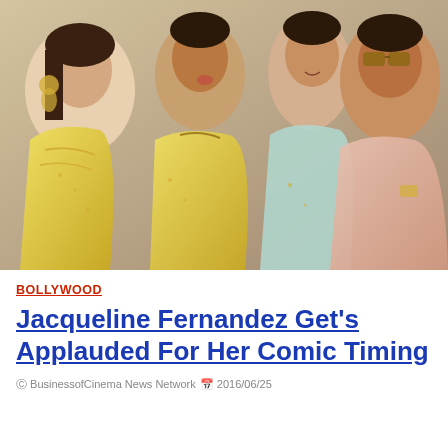[Figure (photo): Four Bollywood actors/actresses posing together; a woman in a yellow sparkly sari on the left, a man in gold/yellow leaning toward her, a woman in a light blue outfit smiling, and a man in a pink suit wearing sunglasses on the right]
BOLLYWOOD
Jacqueline Fernandez Get's Applauded For Her Comic Timing
© BusinessofCinema News Network  2016/06/25